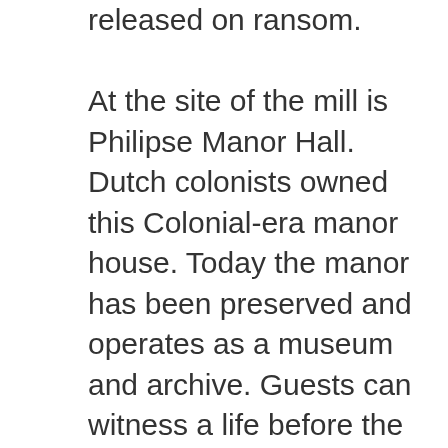released on ransom. At the site of the mill is Philipse Manor Hall. Dutch colonists owned this Colonial-era manor house. Today the manor has been preserved and operates as a museum and archive. Guests can witness a life before the American Revolution. The home was built around 1682 for Frederick Philipse and his wife, Margaret Hardenbroeck de Vries. Philipse